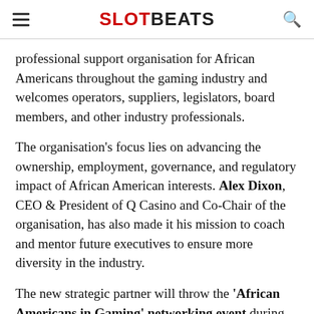SLOTBEATS
professional support organisation for African Americans throughout the gaming industry and welcomes operators, suppliers, legislators, board members, and other industry professionals.
The organisation's focus lies on advancing the ownership, employment, governance, and regulatory impact of African American interests. Alex Dixon, CEO & President of Q Casino and Co-Chair of the organisation, has also made it his mission to coach and mentor future executives to ensure more diversity in the industry.
The new strategic partner will throw the 'African Americans in Gaming' networking event during the leading sports betting and igaming tradeshow next